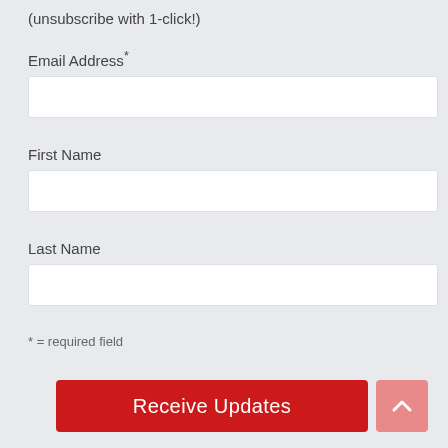(unsubscribe with 1-click!)
Email Address*
First Name
Last Name
* = required field
Receive Updates